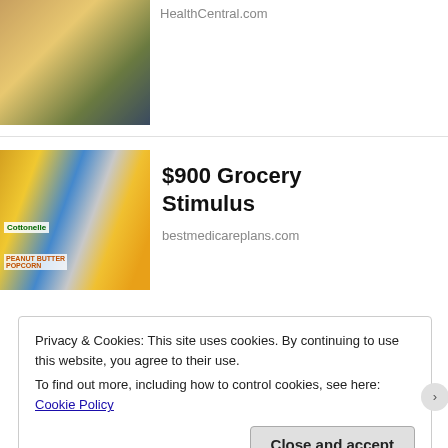[Figure (photo): Partial view of a person in yellow sweater sitting on couch, top portion of a web ad.]
HealthCentral.com
[Figure (photo): Grocery products including Cottonelle, Bounty Basic, and various food items displayed together.]
$900 Grocery Stimulus
bestmedicareplans.com
[Figure (logo): Picture Mushroom app logo: red mushroom icon inside a red dashed rounded square scanner frame.]
sponsored by
Picture Mushroom
Privacy & Cookies: This site uses cookies. By continuing to use this website, you agree to their use.
To find out more, including how to control cookies, see here: Cookie Policy